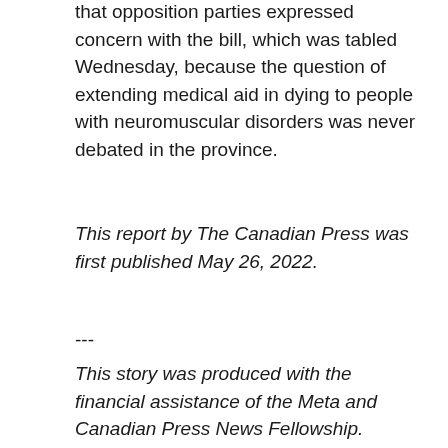that opposition parties expressed concern with the bill, which was tabled Wednesday, because the question of extending medical aid in dying to people with neuromuscular disorders was never debated in the province.
This report by The Canadian Press was first published May 26, 2022.
---
This story was produced with the financial assistance of the Meta and Canadian Press News Fellowship.
RELATED IMAGES
[Figure (photo): Two images side by side: left image appears to show a person, right image shows another person against a sky background.]